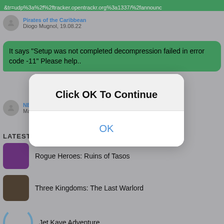&tr=udp%3a%2f%2ftracker.opentrackr.org%3a1337/%2fannounc
Pirates of the Caribbean
Diogo Mugnol, 19.08.22
It says "Setup was not completed decompression failed in error code -11" Please help..
NBA 2K15
Mark Anthony, 19.08.22
LATEST PC GAMES
[Figure (screenshot): Modal dialog overlay with title 'Click OK To Continue' and an OK button]
Rogue Heroes: Ruins of Tasos
Three Kingdoms: The Last Warlord
Jet Kave Adventure